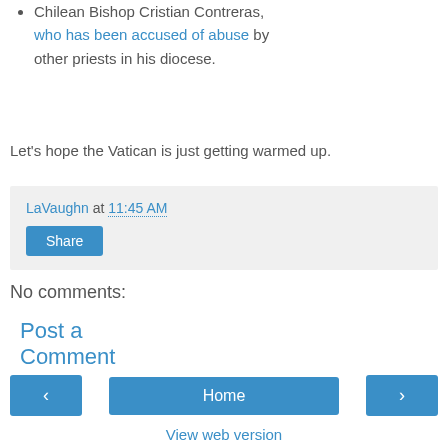Chilean Bishop Cristian Contreras, who has been accused of abuse by other priests in his diocese.
Let's hope the Vatican is just getting warmed up.
LaVaughn at 11:45 AM
No comments:
Post a Comment
Home
View web version